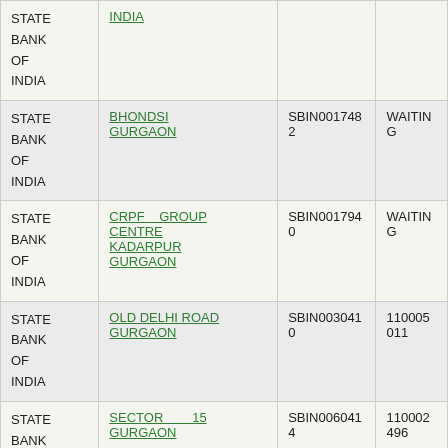| Bank | Branch | IFSC | MICR |
| --- | --- | --- | --- |
| STATE BANK OF INDIA | INDIA |  |  |
| STATE BANK OF INDIA | BHONDSI GURGAON | SBIN0017482 | WAITING |
| STATE BANK OF INDIA | CRPF GROUP CENTRE KADARPUR GURGAON | SBIN0017940 | WAITING |
| STATE BANK OF INDIA | OLD DELHI ROAD GURGAON | SBIN0030410 | 110005011 |
| STATE BANK OF INDIA | SECTOR 15 GURGAON | SBIN0060414 | 110002496 |